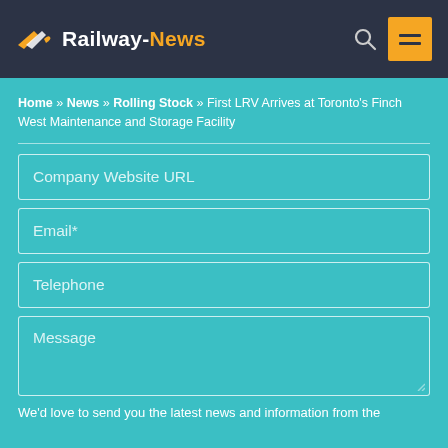Railway-News
Home » News » Rolling Stock » First LRV Arrives at Toronto's Finch West Maintenance and Storage Facility
Company Website URL
Email*
Telephone
Message
We'd love to send you the latest news and information from the